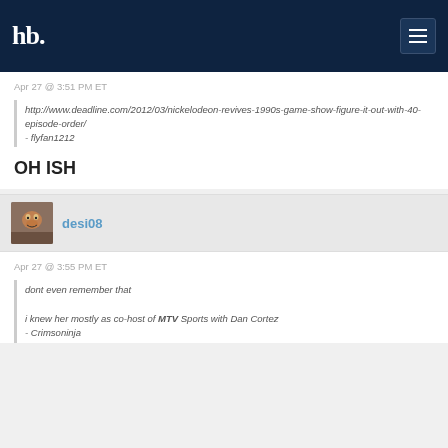hb.
Apr 27 @ 3:51 PM ET
http://www.deadline.com/2012/03/nickelodeon-revives-1990s-game-show-figure-it-out-with-40-episode-order/
- flyfan1212
OH ISH
desi08
Apr 27 @ 3:55 PM ET
dont even remember that
i knew her mostly as co-host of MTV Sports with Dan Cortez
- Crimsoninja